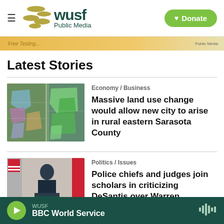WUSF Public Media
[Figure (screenshot): WUSF Public Media logo with decorative dots and Donate button]
[Figure (screenshot): Advertisement banner strip]
Latest Stories
[Figure (map): Aerial/satellite map showing land use color patches in Sarasota County area]
Economy / Business
Massive land use change would allow new city to arise in rural eastern Sarasota County
[Figure (photo): Person speaking at podium with ELECTION INTEGRITY sign, American and Florida flags behind]
Politics / Issues
Police chiefs and judges join scholars in criticizing DeSantis over Warren suspension
WUSF BBC World Service